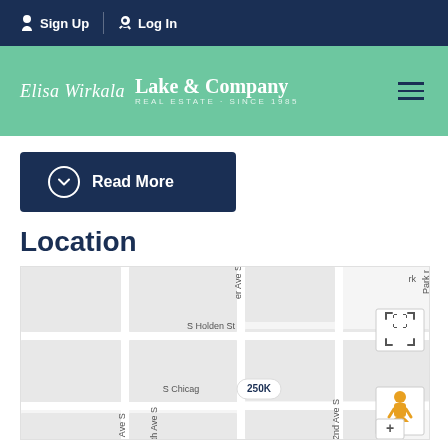Sign Up | Log In
[Figure (logo): Elisa Wirkala / Lake & Company Real Estate Since 1985 logo with teal background and hamburger menu]
Read More
Location
[Figure (map): Street map showing S Holden St, S Chicago Ave, 48th Ave S, 52nd Ave S, Park Ave area with a 250K price marker and Google Maps controls]